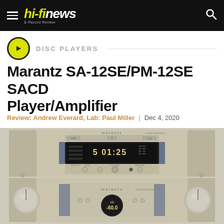hi-fi news & Record Review
DISC PLAYERS
Marantz SA-12SE/PM-12SE SACD Player/Amplifier
Review: Andrew Everard, Lab: Paul Miller | Dec 4, 2020
[Figure (photo): Photo of Marantz SA-12SE SACD player (top) and PM-12SE amplifier (bottom), both in champagne/gold finish, showing front panel controls, display and branding]